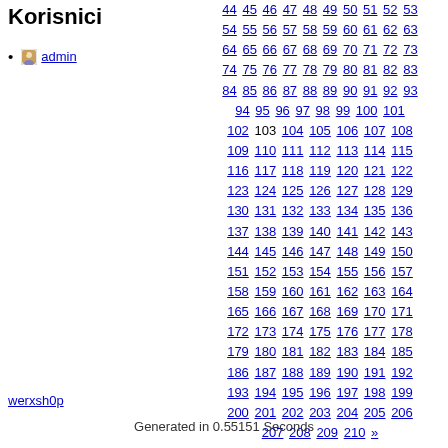Korisnici
admin
44 45 46 47 48 49 50 51 52 53 54 55 56 57 58 59 60 61 62 63 64 65 66 67 68 69 70 71 72 73 74 75 76 77 78 79 80 81 82 83 84 85 86 87 88 89 90 91 92 93 94 95 96 97 98 99 100 101 102 103 104 105 106 107 108 109 110 111 112 113 114 115 116 117 118 119 120 121 122 123 124 125 126 127 128 129 130 131 132 133 134 135 136 137 138 139 140 141 142 143 144 145 146 147 148 149 150 151 152 153 154 155 156 157 158 159 160 161 162 163 164 165 166 167 168 169 170 171 172 173 174 175 176 177 178 179 180 181 182 183 184 185 186 187 188 189 190 191 192 193 194 195 196 197 198 199 200 201 202 203 204 205 206 207 208 209 210 »
werxsh0p
Generated in 0.55151 Seconds